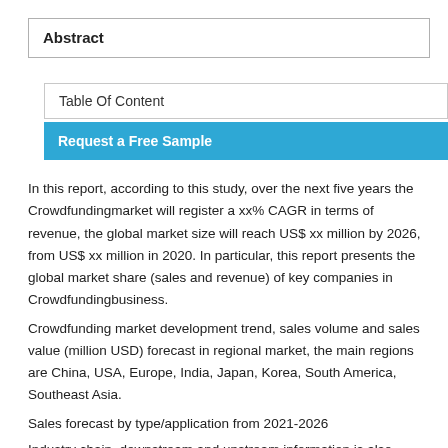Abstract
Table Of Content
Request a Free Sample
In this report, according to this study, over the next five years the Crowdfundingmarket will register a xx% CAGR in terms of revenue, the global market size will reach US$ xx million by 2026, from US$ xx million in 2020. In particular, this report presents the global market share (sales and revenue) of key companies in Crowdfundingbusiness.
Crowdfunding market development trend, sales volume and sales value (million USD) forecast in regional market, the main regions are China, USA, Europe, India, Japan, Korea, South America, Southeast Asia.
Sales forecast by type/application from 2021-2026
Industry chain, downstream and upstream information is also